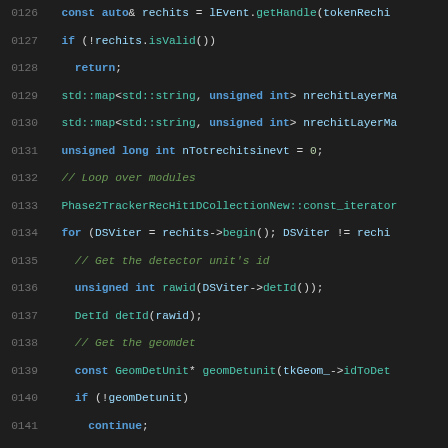Source code listing, lines 0126-0155, C++ tracker geometry code